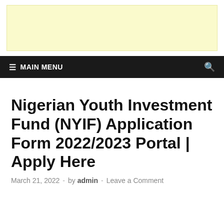[Figure (other): Light yellow advertisement banner area at the top of the page]
≡  MAIN MENU
Nigerian Youth Investment Fund (NYIF) Application Form 2022/2023 Portal | Apply Here
March 21, 2022  -  by admin  -  Leave a Comment